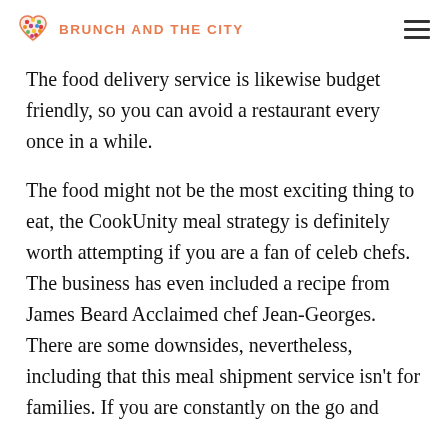BRUNCH AND THE CITY
The food delivery service is likewise budget friendly, so you can avoid a restaurant every once in a while.
The food might not be the most exciting thing to eat, the CookUnity meal strategy is definitely worth attempting if you are a fan of celeb chefs. The business has even included a recipe from James Beard Acclaimed chef Jean-Georges. There are some downsides, nevertheless, including that this meal shipment service isn't for families. If you are constantly on the go and